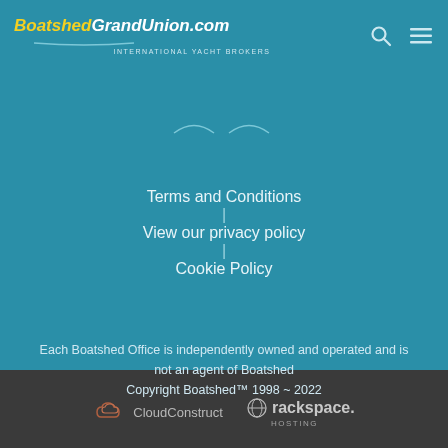BoatshedGrandUnion.com — INTERNATIONAL YACHT BROKERS
Terms and Conditions
View our privacy policy
Cookie Policy
Each Boatshed Office is independently owned and operated and is not an agent of Boatshed
Copyright Boatshed™ 1998 ~ 2022
[Figure (logo): CloudConstruct logo]
[Figure (logo): Rackspace Hosting logo]